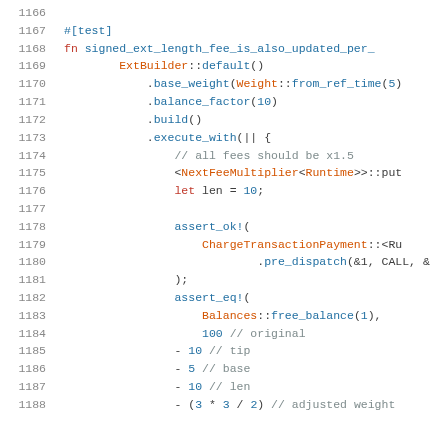Source code listing lines 1166-1188, Rust programming language test function for signed_ext_length_fee_is_also_updated_per_...